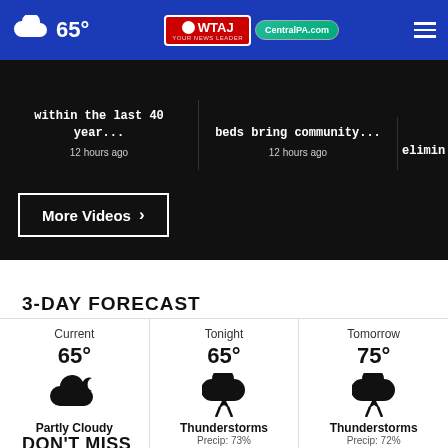65° | WTAJ - CentralPA.com
within the last 40 year... 12 hours ago
beds bring community... 12 hours ago
elimin
More Videos ›
3-DAY FORECAST
[Figure (infographic): 3-day weather forecast grid showing Current 65° Partly Cloudy, Tonight 65° Thunderstorms Precip: 73%, Tomorrow 75° Thunderstorms Precip: 72%]
DON'T MISS